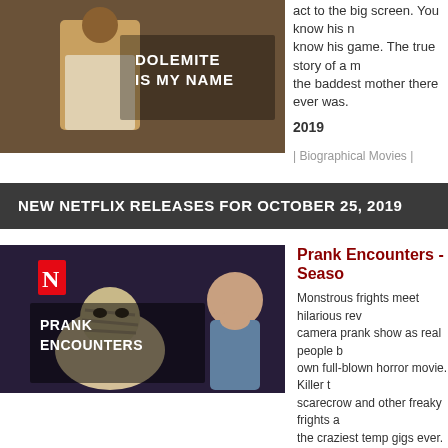[Figure (photo): Dolemite Is My Name movie thumbnail with actor in white suit and text overlay]
act to the big screen. You know his name, know his game. The true story of a man who was the baddest mother there ever was.
2019
| Biographical Movies | Comedies | Life |
NEW NETFLIX RELEASES FOR OCTOBER 25, 2019
[Figure (photo): Prank Encounters Netflix show thumbnail with bandaged creature and shocked woman]
Prank Encounters - Season
Monstrous frights meet hilarious revelations in this hidden camera prank show as real people become stars of their own full-blown horror movie. Killer twin, haunted scarecrow and other freaky frights await those taking the craziest temp gigs ever.
2019
| US TV Shows | TV Comedies | Rea Comedies |
[Figure (photo): American Horror Story thumbnail with dark background and text]
American Horror Story - S